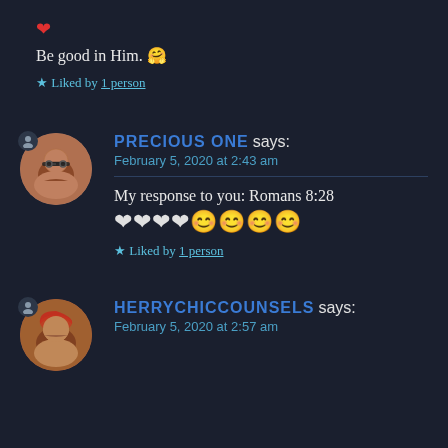❤
Be good in Him. 🤗
★ Liked by 1 person
PRECIOUS ONE says:
February 5, 2020 at 2:43 am
My response to you: Romans 8:28
❤❤❤❤😊😊😊😊
★ Liked by 1 person
HERRYCHICCOUNSELS says:
February 5, 2020 at 2:57 am